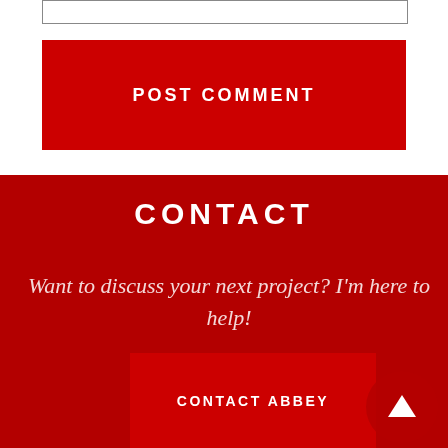[Figure (other): Empty input text box with border]
POST COMMENT
CONTACT
Want to discuss your next project? I'm here to help!
CONTACT ABBEY